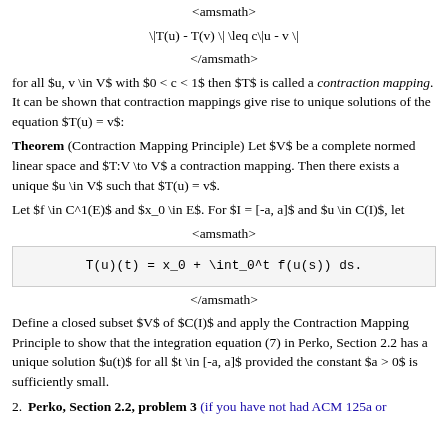<amsmath>
</amsmath>
for all $u, v \in V$ with $0 < c < 1$ then $T$ is called a contraction mapping. It can be shown that contraction mappings give rise to unique solutions of the equation $T(u) = v$:
Theorem (Contraction Mapping Principle) Let $V$ be a complete normed linear space and $T:V \to V$ a contraction mapping. Then there exists a unique $u \in V$ such that $T(u) = v$.
Let $f \in C^1(E)$ and $x_0 \in E$. For $I = [-a, a]$ and $u \in C(I)$, let
<amsmath>
</amsmath>
Define a closed subset $V$ of $C(I)$ and apply the Contraction Mapping Principle to show that the integration equation (7) in Perko, Section 2.2 has a unique solution $u(t)$ for all $t \in [-a, a]$ provided the constant $a > 0$ is sufficiently small.
2. Perko, Section 2.2, problem 3 (if you have not had ACM 125a or